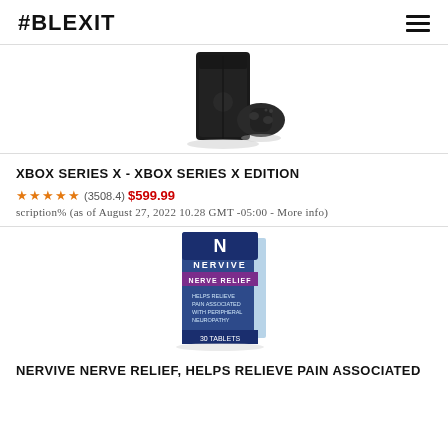#BLEXIT
[Figure (photo): Xbox Series X console and controller - black gaming console shown from front-left angle with controller beside it]
XBOX SERIES X - XBOX SERIES X EDITION
★★★★★ (3508.4) $599.99 scription% (as of August 27, 2022 10.28 GMT -05:00 - More info)
[Figure (photo): Nervive Nerve Relief supplement box - dark blue box with N logo and 30 tablets label]
NERVIVE NERVE RELIEF, HELPS RELIEVE PAIN ASSOCIATED